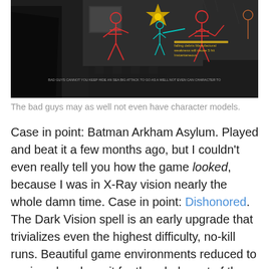[Figure (screenshot): Screenshot from a video game (likely Batman: Arkham Asylum or similar) showing a dark corridor with X-Ray/detective vision overlay — red skeleton outlines of enemies, a cyan outline of a smaller figure, and a star-shaped impact graphic in the upper center. Text overlay visible on the right side of the image.]
The bad guys may as well not even have character models.
Case in point: Batman Arkham Asylum. Played and beat it a few months ago, but I couldn't even really tell you how the game looked, because I was in X-Ray vision nearly the whole damn time. Case in point: Dishonored. The Dark Vision spell is an early upgrade that trivializes even the highest difficulty, no-kill runs. Beautiful game environments reduced to sepia-colored vomit for the whole rest of the game. Hell, I didn't even like the scan mechanic all the way back in the first Metroid Prime game for these same